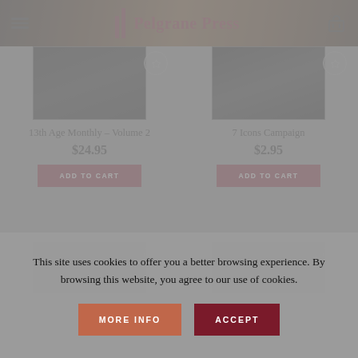[Figure (screenshot): Pelgrane Press website header with logo, hamburger menu, and cart icon]
[Figure (photo): Product image for 13th Age Monthly Volume 2 - dark book cover]
13th Age Monthly – Volume 2
$24.95
ADD TO CART
[Figure (photo): Product image for 7 Icons Campaign - dark book cover]
7 Icons Campaign
$2.95
ADD TO CART
[Figure (photo): Partial product image row 2 left]
[Figure (photo): Partial product image row 2 right]
This site uses cookies to offer you a better browsing experience. By browsing this website, you agree to our use of cookies.
MORE INFO
ACCEPT